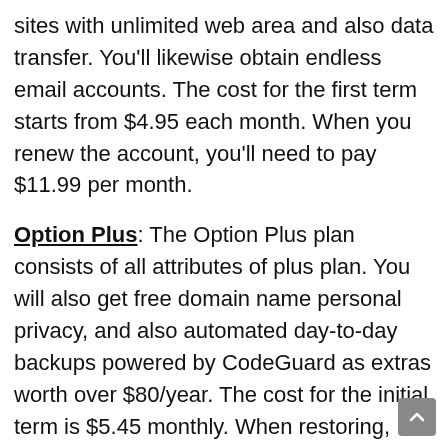sites with unlimited web area and also data transfer. You'll likewise obtain endless email accounts. The cost for the first term starts from $4.95 each month. When you renew the account, you'll need to pay $11.99 per month.
Option Plus: The Option Plus plan consists of all attributes of plus plan. You will also get free domain name personal privacy, and also automated day-to-day backups powered by CodeGuard as extras worth over $80/year. The cost for the initial term is $5.45 monthly. When restoring, you'll need to pay $16.99 each month.
Pro The Pro strategy starts from $13.95 monthly for the initial term after that you'll pay $23.99 monthly. It consists of all functions of above plans + committed IP address.